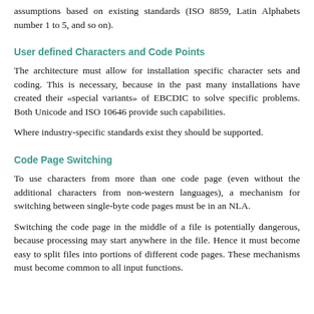assumptions based on existing standards (ISO 8859, Latin Alphabets number 1 to 5, and so on).
User defined Characters and Code Points
The architecture must allow for installation specific character sets and coding. This is necessary, because in the past many installations have created their «special variants» of EBCDIC to solve specific problems. Both Unicode and ISO 10646 provide such capabilities.
Where industry-specific standards exist they should be supported.
Code Page Switching
To use characters from more than one code page (even without the additional characters from non-western languages), a mechanism for switching between single-byte code pages must be in an NLA.
Switching the code page in the middle of a file is potentially dangerous, because processing may start anywhere in the file. Hence it must become easy to split files into portions of different code pages. These mechanisms must become common to all input functions.